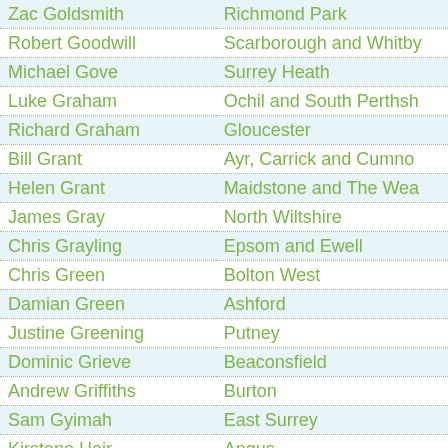| Name | Constituency |
| --- | --- |
| Zac Goldsmith | Richmond Park |
| Robert Goodwill | Scarborough and Whitby |
| Michael Gove | Surrey Heath |
| Luke Graham | Ochil and South Perthshire |
| Richard Graham | Gloucester |
| Bill Grant | Ayr, Carrick and Cumnock |
| Helen Grant | Maidstone and The Weald |
| James Gray | North Wiltshire |
| Chris Grayling | Epsom and Ewell |
| Chris Green | Bolton West |
| Damian Green | Ashford |
| Justine Greening | Putney |
| Dominic Grieve | Beaconsfield |
| Andrew Griffiths | Burton |
| Sam Gyimah | East Surrey |
| Kirstene Hair | Angus |
| Robert Halfon | Harlow |
| Luke Hall | Thornbury and Yate |